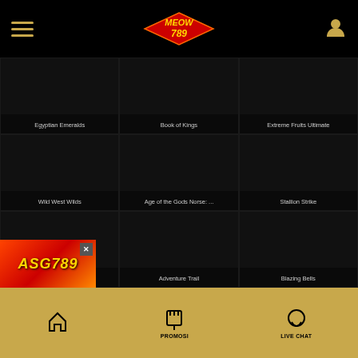MEOW789 - Navigation header with hamburger menu and user icon
Egyptian Emeralds
Book of Kings
Extreme Fruits Ultimate
Wild West Wilds
Age of the Gods Norse: ...
Stallion Strike
Age of the Gods: Glorio...
Adventure Trail
Blazing Bells
[Figure (screenshot): ASG789 promotional popup ad in bottom left corner]
PROMOSI | LIVE CHAT - bottom navigation bar